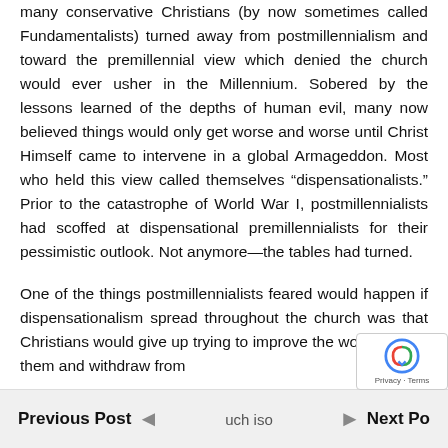many conservative Christians (by now sometimes called Fundamentalists) turned away from postmillennialism and toward the premillennial view which denied the church would ever usher in the Millennium. Sobered by the lessons learned of the depths of human evil, many now believed things would only get worse and worse until Christ Himself came to intervene in a global Armageddon. Most who held this view called themselves “dispensationalists.” Prior to the catastrophe of World War I, postmillennialists had scoffed at dispensational premillennialists for their pessimistic outlook. Not anymore—the tables had turned.
One of the things postmillennialists feared would happen if dispensationalism spread throughout the church was that Christians would give up trying to improve the world around them and withdraw from such isolation—a feature.
Previous Post   ◄   uch iso   ►   Next Post   Privacy · Terms